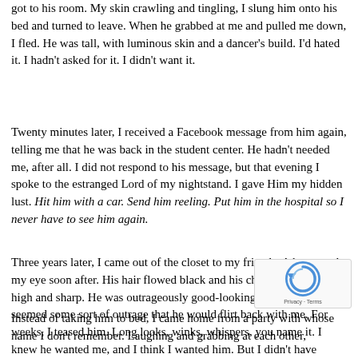got to his room. My skin crawling and tingling, I slung him onto his bed and turned to leave. When he grabbed at me and pulled me down, I fled. He was tall, with luminous skin and a dancer's build. I'd hated it. I hadn't asked for it. I didn't want it.
Twenty minutes later, I received a Facebook message from him again, telling me that he was back in the student center. He hadn't needed me, after all. I did not respond to his message, but that evening I spoke to the estranged Lord of my nightstand. I gave Him my hidden lust. Hit him with a car. Send him reeling. Put him in the hospital so I never have to see him again.
Three years later, I came out of the closet to my friends. A boy caught my eye soon after. His hair flowed black and his cheekbones rose high and sharp. He was outrageously good-looking, such that it seemed some sort of outrage that he would flirt back with me. For weeks, I teased him. Long looks, winks, whispers, you name it. I knew he wanted me, and I think I wanted him. But I didn't have words for the cramp in my lungs that formed every time his smile filled with hunger. I feared this ravening thing in myself, in men.
Instead of taking him to bed, I came home from a party with whose name I don't remember. Laughing and grabbing at each other,